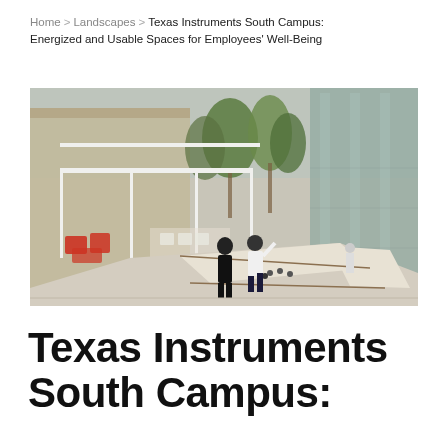Home > Landscapes > Texas Instruments South Campus: Energized and Usable Spaces for Employees' Well-Being
[Figure (photo): Outdoor courtyard at Texas Instruments South Campus showing two people playing bocce ball on a gravel court, with a white pergola structure, red chairs, seating area, trees, and a modern glass office building in the background.]
Texas Instruments South Campus: